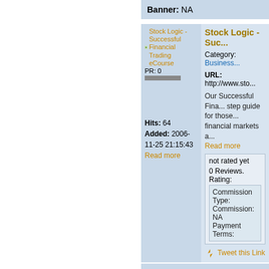Banner: NA
[Figure (screenshot): Stock Logic - Successful Financial Trading eCourse thumbnail image with PR: 0 bar]
Stock Logic - Successful Financial Trading eCourse
Category: Business
URL: http://www.sto...
Our Successful Fina... step guide for those... financial markets a...
Read more
Hits: 64
Added: 2006-11-25 21:15:43
Read more
not rated yet
0 Reviews. Rating:
Commission Type:
Commission: NA
Payment Terms:
Tweet this Link
Banner: NA
[Figure (screenshot): Ibex Outdoor Clothing thumbnail image with N/A rating bar]
Ibex Outdoor Clo...
Category: Sports &